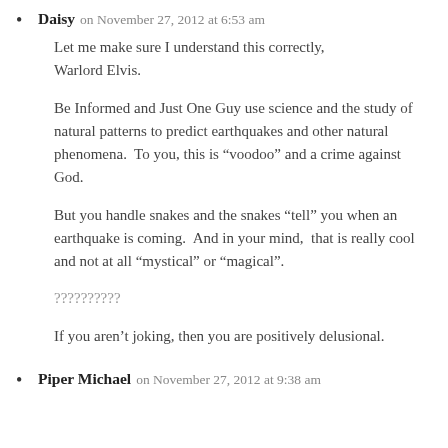Daisy on November 27, 2012 at 6:53 am
Let me make sure I understand this correctly, Warlord Elvis.
Be Informed and Just One Guy use science and the study of natural patterns to predict earthquakes and other natural phenomena.  To you, this is “voodoo” and a crime against God.
But you handle snakes and the snakes “tell” you when an earthquake is coming.  And in your mind,  that is really cool and not at all “mystical” or “magical”.
??????????
If you aren’t joking, then you are positively delusional.
Piper Michael on November 27, 2012 at 9:38 am